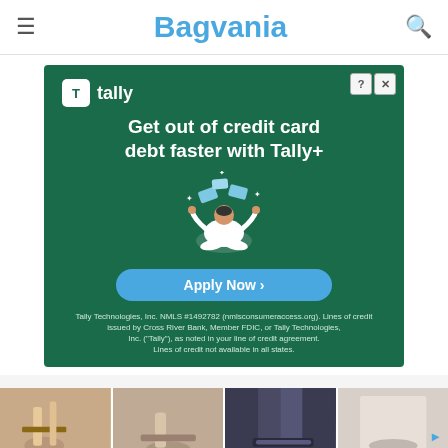Bagvania
[Figure (screenshot): Tally advertisement banner on green background. Shows Tally logo and text 'Get out of credit card debt faster with Tally+' with an illustration of a person meditating surrounded by floating credit cards. Has an 'Apply Now' button and legal disclaimer text. Also shows ? and X control buttons in top right.]
This website uses cookies. By continuing to use this website you are giving consent to cookies being used. Visit our Privacy and
[Figure (photo): Row of four partial images showing feet and legs wearing sandals and shoes, with a small triangular ad marker on the right.]